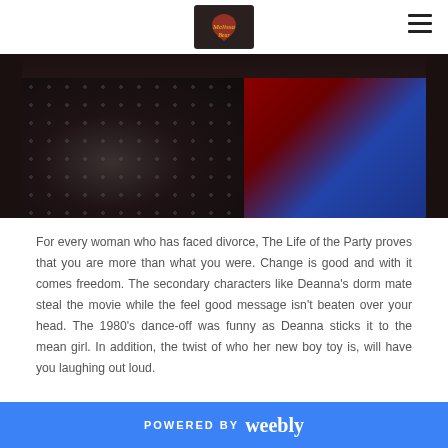Melissa Bear [logo]
[Figure (photo): Cropped photo showing lower portion of people at an event — a sequined/polka-dot dress on the left and blue outfit with heels on the right, against a red background]
For every woman who has faced divorce, The Life of the Party proves that you are more than what you were. Change is good and with it comes freedom. The secondary characters like Deanna's dorm mate steal the movie while the feel good message isn't beaten over your head. The 1980's dance-off was funny as Deanna sticks it to the mean girl. In addition, the twist of who her new boy toy is, will have you laughing out loud.
POWERED BY weebly